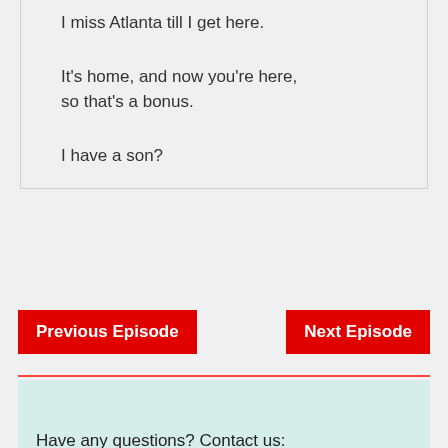I miss Atlanta till I get here.

It's home, and now you're here, so that's a bonus.

I have a son?
Previous Episode
Next Episode
Have any questions? Contact us: subslikescript(doggysign)gmail.com | DMCA